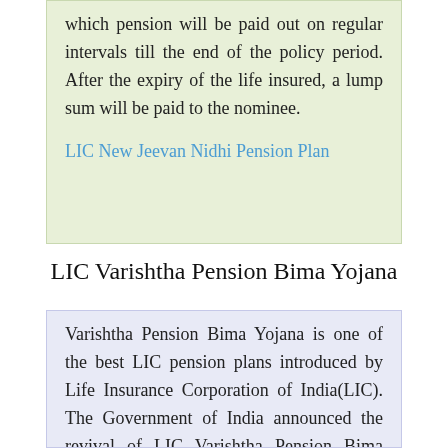which pension will be paid out on regular intervals till the end of the policy period. After the expiry of the life insured, a lump sum will be paid to the nominee.
LIC New Jeevan Nidhi Pension Plan
LIC Varishtha Pension Bima Yojana
Varishtha Pension Bima Yojana is one of the best LIC pension plans introduced by Life Insurance Corporation of India(LIC). The Government of India announced the revival of LIC Varishtha Pension Bima Yojana in Union Budget 2014-2015. LIC Varishtha Bima Yojana is a single